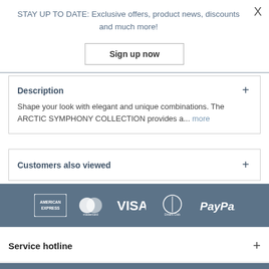STAY UP TO DATE: Exclusive offers, product news, discounts and much more!
Sign up now
Description
Shape your look with elegant and unique combinations. The ARCTIC SYMPHONY COLLECTION provides a... more
Customers also viewed
[Figure (other): Payment method logos: American Express, Mastercard, VISA, Diners Club, PayPal]
Service hotline
Shop service